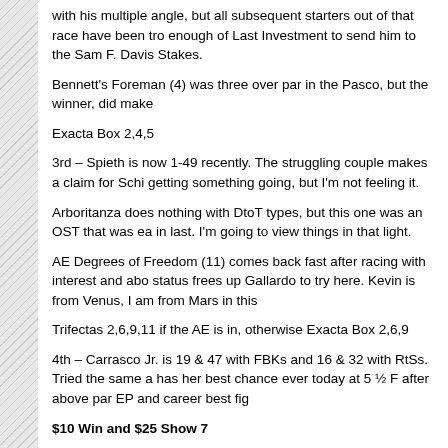with his multiple angle, but all subsequent starters out of that race have been tr... enough of Last Investment to send him to the Sam F. Davis Stakes.
Bennett's Foreman (4) was three over par in the Pasco, but the winner, did mak...
Exacta Box 2,4,5
3rd – Spieth is now 1-49 recently. The struggling couple makes a claim for Schi... getting something going, but I'm not feeling it.
Arboritanza does nothing with DtoT types, but this one was an OST that was ea... in last. I'm going to view things in that light.
AE Degrees of Freedom (11) comes back fast after racing with interest and abo... status frees up Gallardo to try here. Kevin is from Venus, I am from Mars in this
Trifectas 2,6,9,11 if the AE is in, otherwise Exacta Box 2,6,9
4th – Carrasco Jr. is 19 & 47 with FBKs and 16 & 32 with RtSs. Tried the same a... has her best chance ever today at 5 ½ F after above par EP and career best fig...
$10 Win and $25 Show 7
$10 Exactas 3,8/7 ($20)